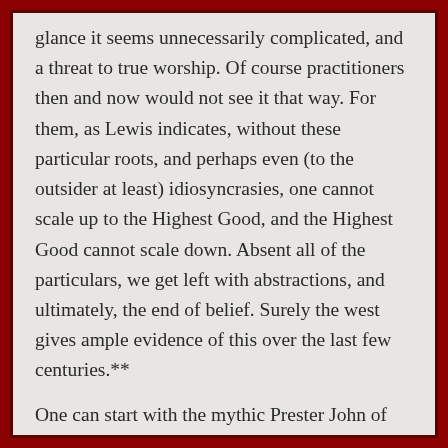glance it seems unnecessarily complicated, and a threat to true worship. Of course practitioners then and now would not see it that way. For them, as Lewis indicates, without these particular roots, and perhaps even (to the outsider at least) idiosyncrasies, one cannot scale up to the Highest Good, and the Highest Good cannot scale down. Absent all of the particulars, we get left with abstractions, and ultimately, the end of belief. Surely the west gives ample evidence of this over the last few centuries.**
One can start with the mythic Prester John of Friesing and work your way back down to Ghenis Khan, or start with a ham sandwich and work up to something grand about the flip that happens at the end of the world–i.e., two